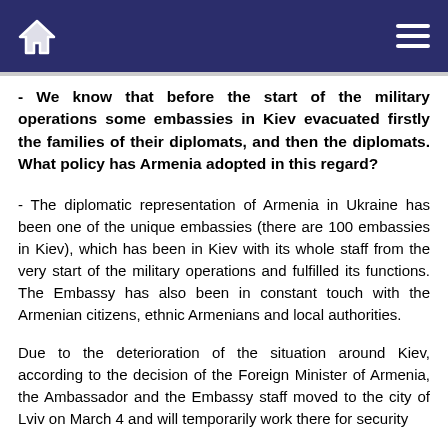[Home icon] [Menu icon]
- We know that before the start of the military operations some embassies in Kiev evacuated firstly the families of their diplomats, and then the diplomats. What policy has Armenia adopted in this regard?
- The diplomatic representation of Armenia in Ukraine has been one of the unique embassies (there are 100 embassies in Kiev), which has been in Kiev with its whole staff from the very start of the military operations and fulfilled its functions. The Embassy has also been in constant touch with the Armenian citizens, ethnic Armenians and local authorities.
Due to the deterioration of the situation around Kiev, according to the decision of the Foreign Minister of Armenia, the Ambassador and the Embassy staff moved to the city of Lviv on March 4 and will temporarily work there for security